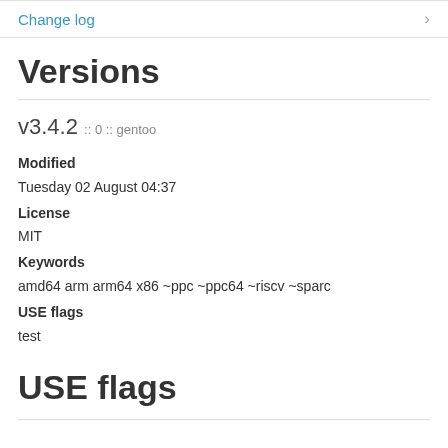Change log
Versions
v3.4.2 :: 0 :: gentoo
Modified
Tuesday 02 August 04:37
License
MIT
Keywords
amd64 arm arm64 x86 ~ppc ~ppc64 ~riscv ~sparc
USE flags
test
USE flags